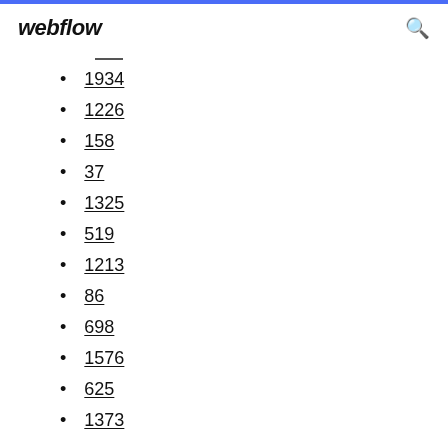webflow
1934
1226
158
37
1325
519
1213
86
698
1576
625
1373